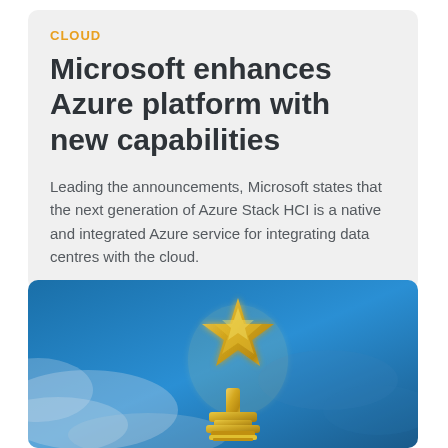CLOUD
Microsoft enhances Azure platform with new capabilities
Leading the announcements, Microsoft states that the next generation of Azure Stack HCI is a native and integrated Azure service for integrating data centres with the cloud.
[Figure (photo): A gold star trophy award against a blue smoky background]